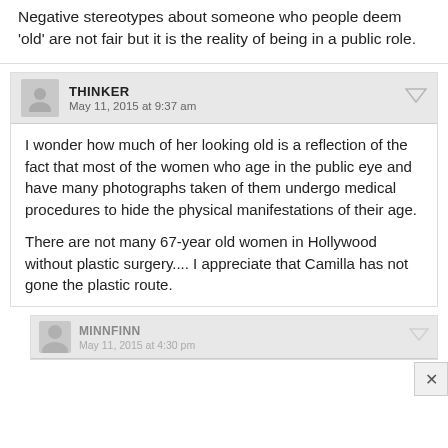Negative stereotypes about someone who people deem ‘old’ are not fair but it is the reality of being in a public role.
THINKER
May 11, 2015 at 9:37 am
I wonder how much of her looking old is a reflection of the fact that most of the women who age in the public eye and have many photographs taken of them undergo medical procedures to hide the physical manifestations of their age.

There are not many 67-year old women in Hollywood without plastic surgery.... I appreciate that Camilla has not gone the plastic route.
MINNFINN
May 11, 2015 at 4:30 pm